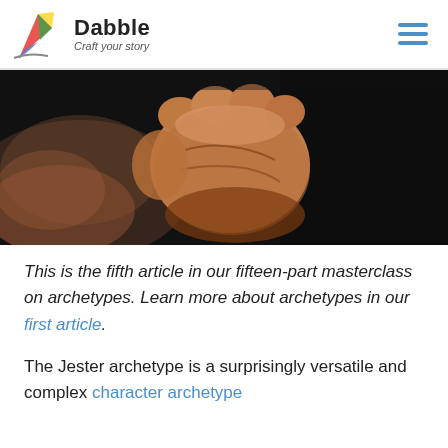Dabble — Craft your story
[Figure (photo): Close-up photograph of a raised fist against a dark background, dramatic lighting highlighting the knuckles and fingers.]
This is the fifth article in our fifteen-part masterclass on archetypes. Learn more about archetypes in our first article.
The Jester archetype is a surprisingly versatile and complex character archetype